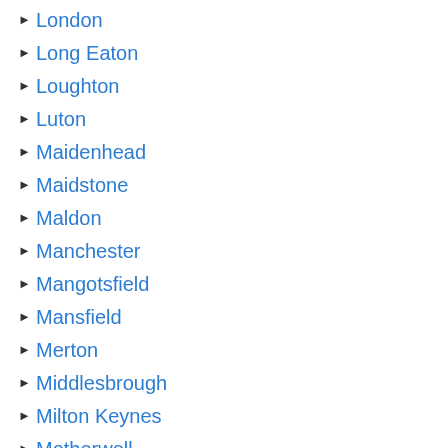London
Long Eaton
Loughton
Luton
Maidenhead
Maidstone
Maldon
Manchester
Mangotsfield
Mansfield
Merton
Middlesbrough
Milton Keynes
Motherwell
Musselburgh
Neath
New Milton